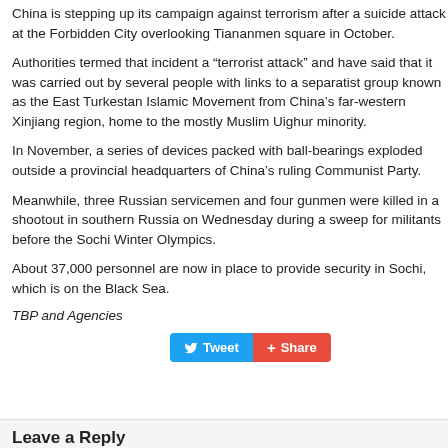China is stepping up its campaign against terrorism after a suicide attack at the Forbidden City overlooking Tiananmen square in October.
Authorities termed that incident a “terrorist attack” and have said that it was carried out by several people with links to a separatist group known as the East Turkestan Islamic Movement from China’s far-western Xinjiang region, home to the mostly Muslim Uighur minority.
In November, a series of devices packed with ball-bearings exploded outside a provincial headquarters of China’s ruling Communist Party.
Meanwhile, three Russian servicemen and four gunmen were killed in a shootout in southern Russia on Wednesday during a sweep for militants before the Sochi Winter Olympics.
About 37,000 personnel are now in place to provide security in Sochi, which is on the Black Sea.
TBP and Agencies
[Figure (other): Tweet and Share buttons]
Leave a Reply